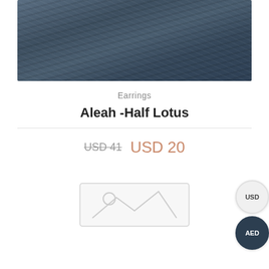[Figure (photo): Product photo of earrings on dark blue-grey textured stone/fabric background]
Earrings
Aleah -Half Lotus
USD 41  USD 20
[Figure (photo): Placeholder image thumbnail with image icon]
[Figure (other): USD currency selector button (circular, light grey)]
[Figure (other): AED currency selector button (circular, dark navy)]